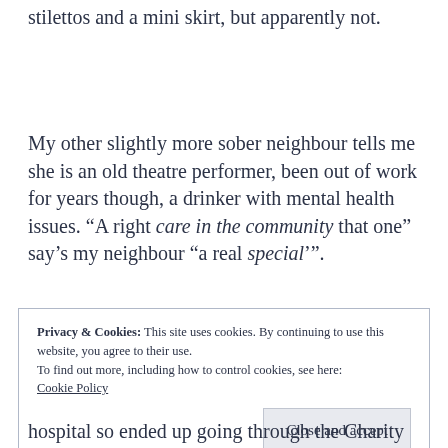stilettos and a mini skirt, but apparently not.
My other slightly more sober neighbour tells me she is an old theatre performer, been out of work for years though, a drinker with mental health issues. “A right care in the community that one” say’s my neighbour “a real special’”.
Privacy & Cookies: This site uses cookies. By continuing to use this website, you agree to their use.
To find out more, including how to control cookies, see here:
Cookie Policy
Close and accept
hospital so ended up going through the Charity